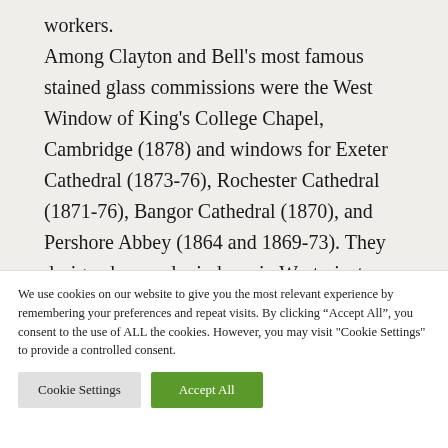workers. Among Clayton and Bell's most famous stained glass commissions were the West Window of King's College Chapel, Cambridge (1878) and windows for Exeter Cathedral (1873-76), Rochester Cathedral (1871-76), Bangor Cathedral (1870), and Pershore Abbey (1864 and 1869-73). They designed several windows in Westminster Abbey and St Margaret's Church in
We use cookies on our website to give you the most relevant experience by remembering your preferences and repeat visits. By clicking "Accept All", you consent to the use of ALL the cookies. However, you may visit "Cookie Settings" to provide a controlled consent.